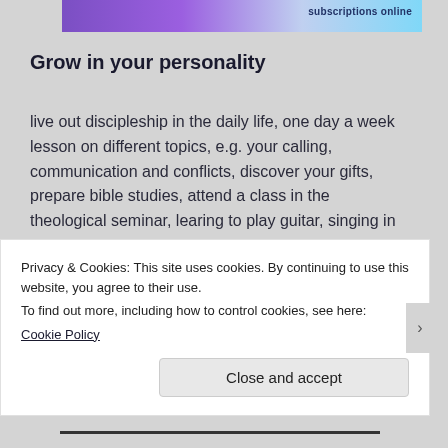[Figure (screenshot): Top banner showing a purple/blue gradient design with text 'subscriptions online']
Grow in your personality
live out discipleship in the daily life, one day a week lesson on different topics, e.g. your calling, communication and conflicts, discover your gifts, prepare bible studies, attend a class in the theological seminar, learing to play guitar, singing in the choir...
I worked one year mainly in the laundry: washing
Privacy & Cookies: This site uses cookies. By continuing to use this website, you agree to their use.
To find out more, including how to control cookies, see here:
Cookie Policy
Close and accept